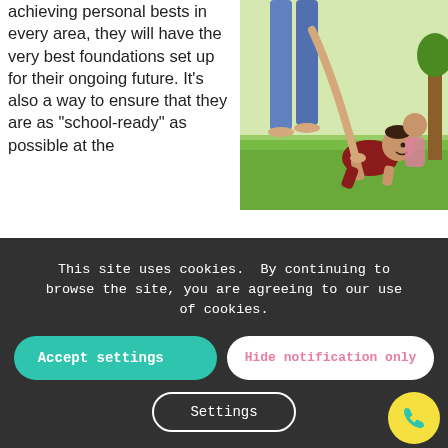achieving personal bests in every area, they will have the very best foundations set up for their ongoing future. It's also a way to ensure that they are as "school-ready" as possible at the age of five, when they leave early years provision and ti...able the...accomplish a flying...will also take with them...sm to learn that they have gai...that children's outcomes and life chances are significantly improved when a good approach to early years learning and development has been implemented. Indeed, that's one of the many reasons why the UK's Department of Education
[Figure (photo): Photo of a baby crawling on grass outdoors, with adult legs and another person visible in background]
This site uses cookies. By continuing to browse the site, you are agreeing to our use of cookies.
Accept settings
Hide notification only
Settings